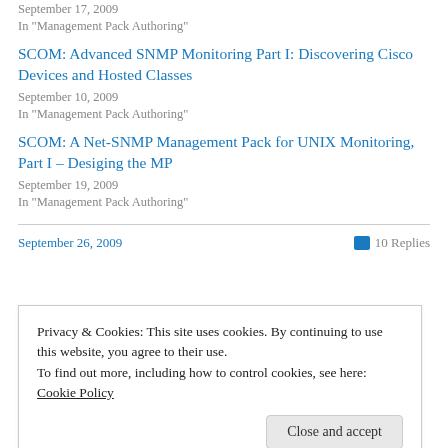September 17, 2009
In "Management Pack Authoring"
SCOM: Advanced SNMP Monitoring Part I: Discovering Cisco Devices and Hosted Classes
September 10, 2009
In "Management Pack Authoring"
SCOM: A Net-SNMP Management Pack for UNIX Monitoring, Part I – Desiging the MP
September 19, 2009
In "Management Pack Authoring"
September 26, 2009
10 Replies
Privacy & Cookies: This site uses cookies. By continuing to use this website, you agree to their use.
To find out more, including how to control cookies, see here: Cookie Policy
Close and accept
Leave a Reply to Kristopher Bash